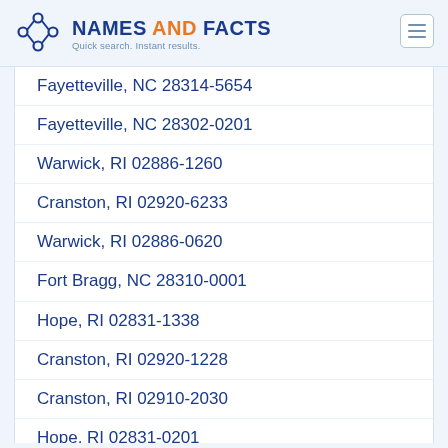NAMES AND FACTS — Quick search. Instant results.
Fayetteville, NC 28314-5654
Fayetteville, NC 28302-0201
Warwick, RI 02886-1260
Cranston, RI 02920-6233
Warwick, RI 02886-0620
Fort Bragg, NC 28310-0001
Hope, RI 02831-1338
Cranston, RI 02920-1228
Cranston, RI 02910-2030
Hope, RI 02831-0201
Cranston, RI 02910-3011
Sanford, NC 27332-1679